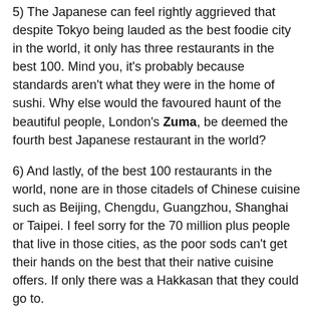5) The Japanese can feel rightly aggrieved that despite Tokyo being lauded as the best foodie city in the world, it only has three restaurants in the best 100. Mind you, it's probably because standards aren't what they were in the home of sushi. Why else would the favoured haunt of the beautiful people, London's Zuma, be deemed the fourth best Japanese restaurant in the world?
6) And lastly, of the best 100 restaurants in the world, none are in those citadels of Chinese cuisine such as Beijing, Chengdu, Guangzhou, Shanghai or Taipei. I feel sorry for the 70 million plus people that live in those cities, as the poor sods can't get their hands on the best that their native cuisine offers. If only there was a Hakkasan that they could go to.
In fairness, the voting process is transparent. It's just that the voting panel seem to be a bunch of ignorant bores (I'm being kind - I called them much worse in the original draft) that don't really get Asian food. Why else would they pitch up in an Asian city, and dine out at restaurants serving posh European food. Why not get down and dirty with the local